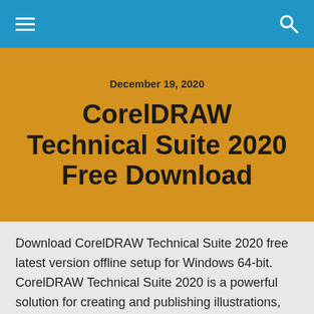December 19, 2020
CorelDRAW Technical Suite 2020 Free Download
Download CorelDRAW Technical Suite 2020 free latest version offline setup for Windows 64-bit. CorelDRAW Technical Suite 2020 is a powerful solution for creating and publishing illustrations, technical drawings, schematics, presentations and many other designs.
CorelDRAW Technical Suite 2020 Over